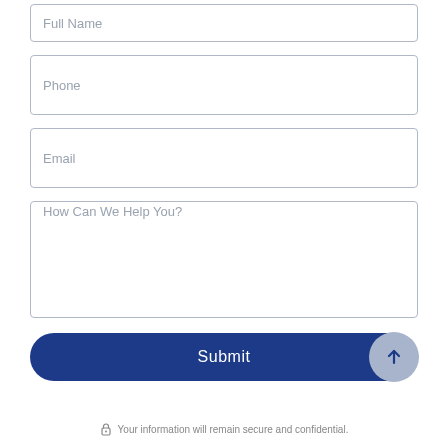Full Name
Phone
Email
How Can We Help You?
Submit
Your information will remain secure and confidential.